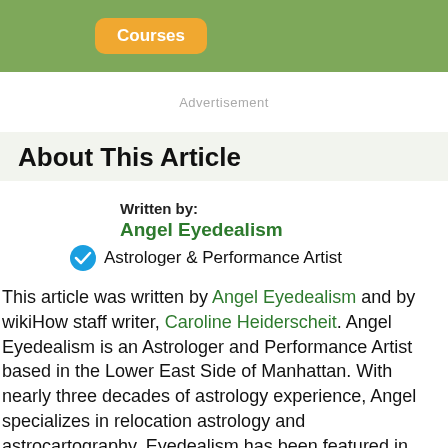Courses
Advertisement
About This Article
Written by:
Angel Eyedealism
Astrologer & Performance Artist
This article was written by Angel Eyedealism and by wikiHow staff writer, Caroline Heiderscheit. Angel Eyedealism is an Astrologer and Performance Artist based in the Lower East Side of Manhattan. With nearly three decades of astrology experience, Angel specializes in relocation astrology and astrocartography. Eyedealism has been featured in numerous media outlets such as Vogue, Cosmopolitan, The Atlantic, The Washington Post, Refinery29, NBC, MTV, Showtime, and Bravo. Angel aims to help others through a straightforward, kind, and humorous astrological lens, utilizing her entertainment and singing skills for performance art astrology